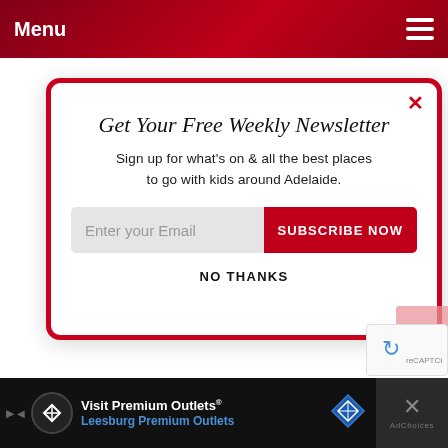Menu
Get Your Free Weekly Newsletter
Sign up for what's on & all the best places to go with kids around Adelaide.
Enter your Email  SUBSCRIBE NOW
NO THANKS
[Figure (screenshot): Advertisement bar at bottom: Visit Premium Outlets® Leesburg Premium Outlets with logo and navigation arrow icon]